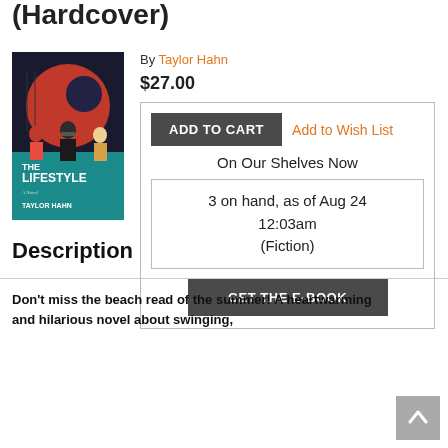(Hardcover)
[Figure (illustration): Book cover of 'The Lifestyle' by Taylor Hahn, showing illustrated characters in front of a red circular background with a moon, teal lower half with bold title text.]
By Taylor Hahn
$27.00
ADD TO CART    Add to Wish List
On Our Shelves Now
3 on hand, as of Aug 24 12:03am (Fiction)
GET THE E-BOOK
Description
Don't miss the beach read of the summer! A heartwarming and hilarious novel about swinging,